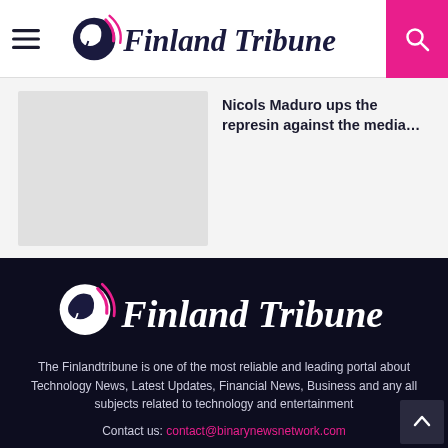Finland Tribune
Nicols Maduro ups the represin against the media...
[Figure (logo): Finland Tribune footer logo on dark background]
The Finlandtribune is one of the most reliable and leading portal about Technology News, Latest Updates, Financial News, Business and any all subjects related to technology and entertainment
Contact us: contact@binarynewsnetwork.com